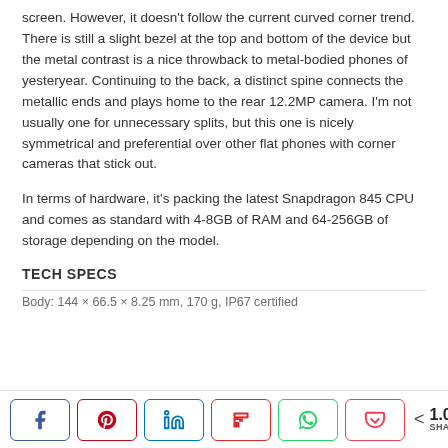screen. However, it doesn't follow the current curved corner trend. There is still a slight bezel at the top and bottom of the device but the metal contrast is a nice throwback to metal-bodied phones of yesteryear. Continuing to the back, a distinct spine connects the metallic ends and plays home to the rear 12.2MP camera. I'm not usually one for unnecessary splits, but this one is nicely symmetrical and preferential over other flat phones with corner cameras that stick out.
In terms of hardware, it's packing the latest Snapdragon 845 CPU and comes as standard with 4-8GB of RAM and 64-256GB of storage depending on the model.
TECH SPECS
Body: 144 × 66.5 × 8.25 mm, 170 g, IP67 certified